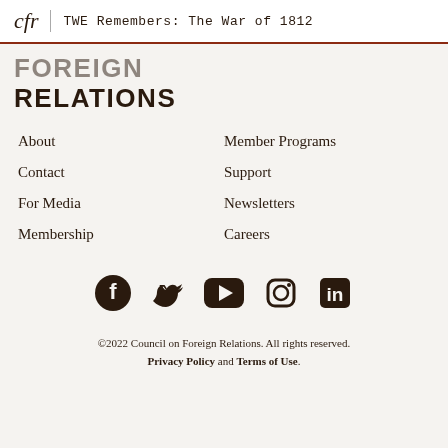cfr | TWE Remembers: The War of 1812
FOREIGN RELATIONS
About
Member Programs
Contact
Support
For Media
Newsletters
Membership
Careers
[Figure (infographic): Social media icons row: Facebook, Twitter, YouTube, Instagram, LinkedIn]
©2022 Council on Foreign Relations. All rights reserved. Privacy Policy and Terms of Use.